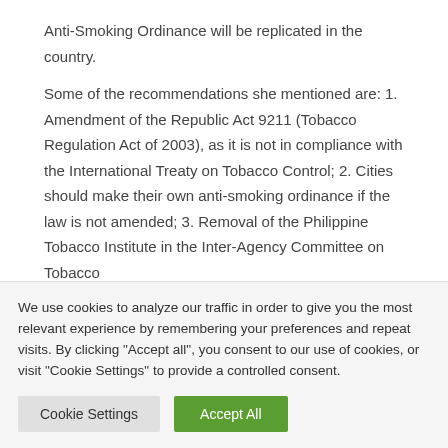Anti-Smoking Ordinance will be replicated in the country.
Some of the recommendations she mentioned are: 1. Amendment of the Republic Act 9211 (Tobacco Regulation Act of 2003), as it is not in compliance with the International Treaty on Tobacco Control; 2. Cities should make their own anti-smoking ordinance if the law is not amended; 3. Removal of the Philippine Tobacco Institute in the Inter-Agency Committee on Tobacco
We use cookies to analyze our traffic in order to give you the most relevant experience by remembering your preferences and repeat visits. By clicking "Accept all", you consent to our use of cookies, or visit "Cookie Settings" to provide a controlled consent.